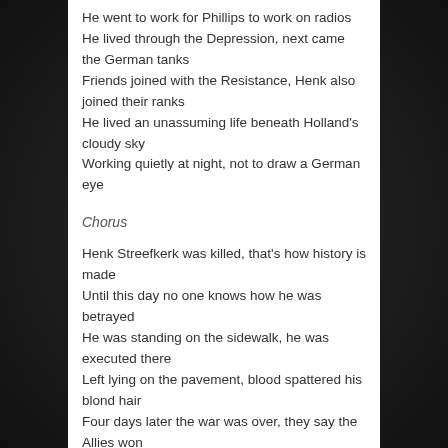He went to work for Phillips to work on radios
He lived through the Depression, next came the German tanks
Friends joined with the Resistance, Henk also joined their ranks
He lived an unassuming life beneath Holland's cloudy sky
Working quietly at night, not to draw a German eye
Chorus
Henk Streefkerk was killed, that's how history is made
Until this day no one knows how he was betrayed
He was standing on the sidewalk, he was executed there
Left lying on the pavement, blood spattered his blond hair
Four days later the war was over, they say the Allies won
Many people celebrated while the Streefkerks buried their only son